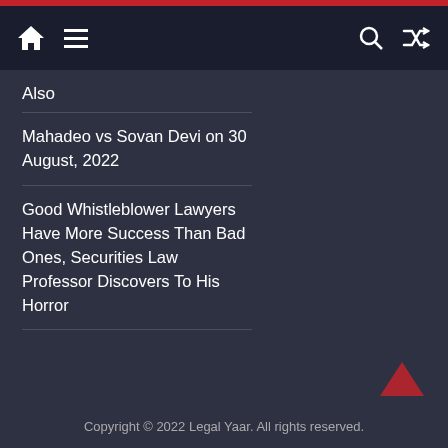Legal Yaar navigation bar with home, menu, search, and shuffle icons
Also
Mahadeo vs Sovan Devi on 30 August, 2022
Good Whistleblower Lawyers Have More Success Than Bad Ones, Securities Law Professor Discovers To His Horror
Copyright © 2022 Legal Yaar. All rights reserved.